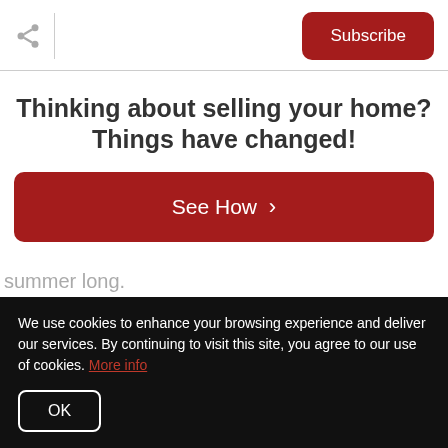Subscribe
Thinking about selling your home? Things have changed!
See How ›
summer long.
We use cookies to enhance your browsing experience and deliver our services. By continuing to visit this site, you agree to our use of cookies. More info
OK